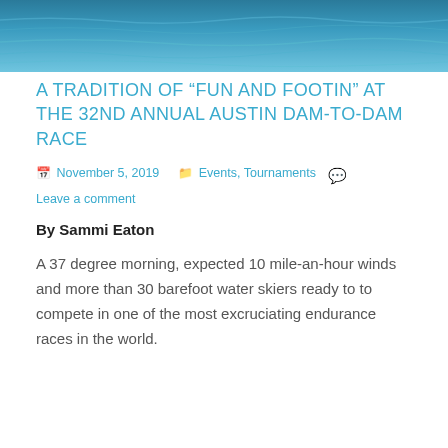[Figure (photo): Aerial or close-up photo of water surface with rippling blue waves]
A TRADITION OF “FUN AND FOOTIN” AT THE 32ND ANNUAL AUSTIN DAM-TO-DAM RACE
November 5, 2019   Events, Tournaments   Leave a comment
By Sammi Eaton
A 37 degree morning, expected 10 mile-an-hour winds and more than 30 barefoot water skiers ready to to compete in one of the most excruciating endurance races in the world.